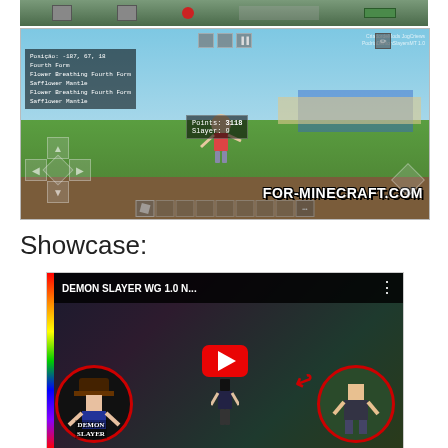[Figure (screenshot): Top portion of a Minecraft mobile gameplay screenshot (partially visible at top of page)]
[Figure (screenshot): Minecraft mobile gameplay screenshot showing a player with Demon Slayer mod. Debug text on left shows: Posição: -187, 67, 18 / Fourth Form / Flower Breathing Fourth Form / Safflower Mantle / Flower Breathing Fourth Form / Safflower Mantle. Points: 3118, Slayer: 9. Watermark: FOR-MINECRAFT.COM]
Showcase:
[Figure (screenshot): YouTube video thumbnail for 'DEMON SLAYER WG 1.0 N...' showing Demon Slayer Minecraft mod showcase with YouTube play button, rainbow border on left, characters in red circles, and Demon Slayer logo text at bottom left.]